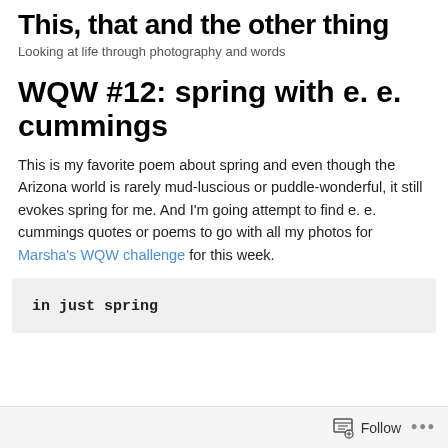This, that and the other thing
Looking at life through photography and words
WQW #12: spring with e. e. cummings
This is my favorite poem about spring and even though the Arizona world is rarely mud-luscious or puddle-wonderful, it still evokes spring for me. And I’m going attempt to find e. e. cummings quotes or poems to go with all my photos for Marsha’s WQW challenge for this week.
in just spring
Follow ...